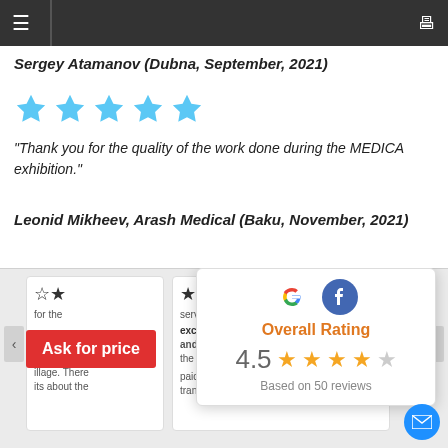≡  ⬜
Sergey Atamanov (Dubna, September, 2021)
[Figure (other): Five blue star rating icons]
"Thank you for the quality of the work done during the MEDICA exhibition."
Leonid Mikheev, Arash Medical (Baku, November, 2021)
[Figure (other): Overall Rating popup showing Google and Facebook logos, 4.5 stars rating based on 50 reviews. Review cards strip below with 'Ask for price' red button overlay.]